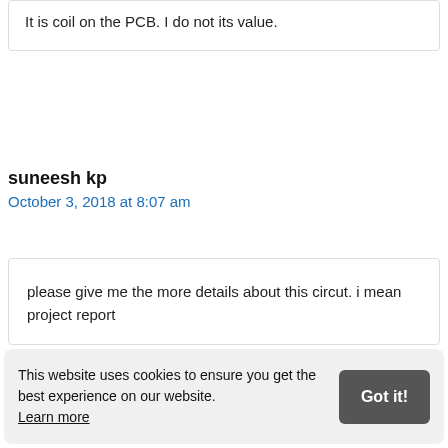It is coil on the PCB. I do not its value.
suneesh kp
October 3, 2018 at 8:07 am
please give me the more details about this circut. i mean project report
This website uses cookies to ensure you get the best experience on our website. Learn more